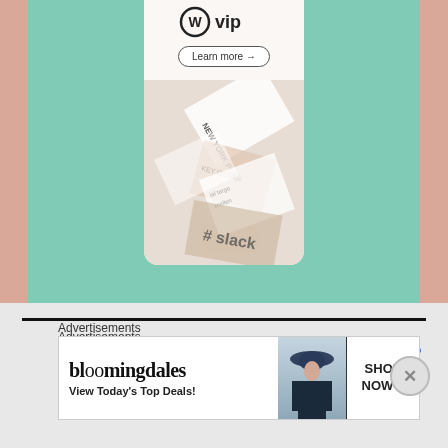[Figure (screenshot): WordPress VIP advertisement banner with 'Learn more' button and collage of media brand images (New York Post, Slack, etc.) on a mint/teal background]
Advertisements
[Figure (screenshot): Bloomingdale's advertisement banner: 'View Today's Top Deals!' with SHOP NOW button and model wearing wide-brim hat]
Advertisements